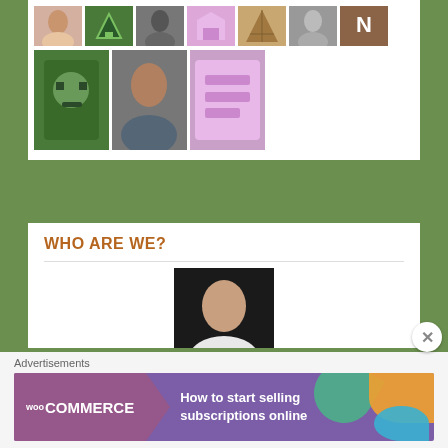[Figure (photo): Grid of user avatars - row 1 with 8 small avatars, row 2 with 3 larger avatars]
WHO ARE WE?
[Figure (photo): Profile photo of user ajmained - person with light hair]
ajmained
#SWEDEN : Benjamin Ingrosso wins the ticket to Lisbon
[Figure (photo): Profile photo of second user - bearded man]
[Figure (infographic): WooCommerce advertisement banner - How to start selling subscriptions online]